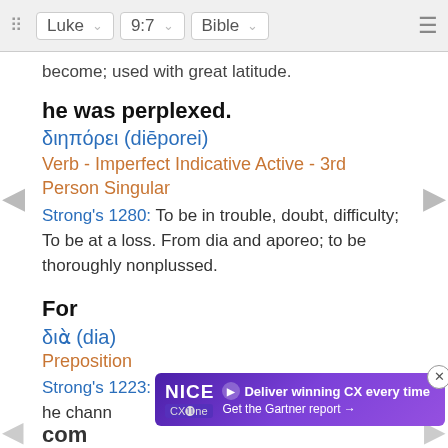Luke 9:7 Bible
become; used with great latitude.
he was perplexed.
διηπόρει (diēporei)
Verb - Imperfect Indicative Active - 3rd Person Singular
Strong's 1280: To be in trouble, doubt, difficulty; To be at a loss. From dia and aporeo; to be thoroughly nonplussed.
For
διὰ (dia)
Preposition
Strong's 1223: A primary preposition denoting the channel of an act; through.
[Figure (screenshot): Advertisement banner for NICE CXone: 'Deliver winning CX every time - Get the Gartner report']